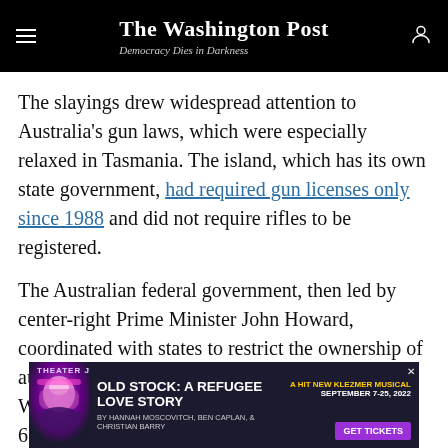The Washington Post — Democracy Dies in Darkness
The slayings drew widespread attention to Australia's gun laws, which were especially relaxed in Tasmania. The island, which has its own state government, had required gun licenses only since 1988 and did not require rifles to be registered.
The Australian federal government, then led by center-right Prime Minister John Howard, coordinated with states to restrict the ownership of automatic and semiautomatic rifles and shotguns. Within a year, the government bought back 650,000 firearms.
S...tudies have indicated that the...
[Figure (advertisement): Theater J advertisement for 'Old Stock: A Refugee Love Story', September 7-25, 2022. Get Tickets button shown.]